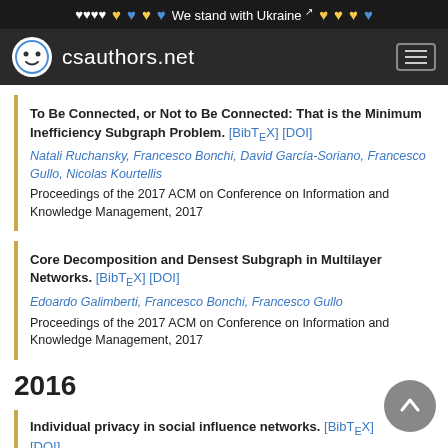We stand with Ukraine
[Figure (logo): csauthors.net logo with smiley face icon]
To Be Connected, or Not to Be Connected: That is the Minimum Inefficiency Subgraph Problem. [BibTeX] [DOI]
Natali Ruchansky, Francesco Bonchi, David García-Soriano, Francesco Gullo, Nicolas Kourtellis
Proceedings of the 2017 ACM on Conference on Information and Knowledge Management, 2017
Core Decomposition and Densest Subgraph in Multilayer Networks. [BibTeX] [DOI]
Edoardo Galimberti, Francesco Bonchi, Francesco Gullo
Proceedings of the 2017 ACM on Conference on Information and Knowledge Management, 2017
2016
Individual privacy in social influence networks. [BibTeX] [DOI]
Sara Hajian, Tamir Tassa, Francesco Bonchi